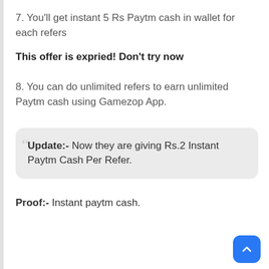7. You'll get instant 5 Rs Paytm cash in wallet for each refers
This offer is expried! Don't try now
8. You can do unlimited refers to earn unlimited Paytm cash using Gamezop App.
Update:- Now they are giving Rs.2 Instant Paytm Cash Per Refer.
Proof:- Instant paytm cash.